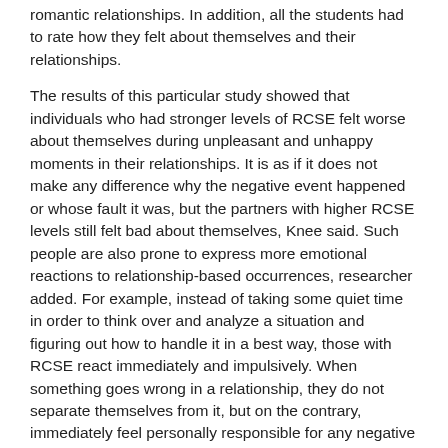romantic relationships. In addition, all the students had to rate how they felt about themselves and their relationships.
The results of this particular study showed that individuals who had stronger levels of RCSE felt worse about themselves during unpleasant and unhappy moments in their relationships. It is as if it does not make any difference why the negative event happened or whose fault it was, but the partners with higher RCSE levels still felt bad about themselves, Knee said. Such people are also prone to express more emotional reactions to relationship-based occurrences, researcher added. For example, instead of taking some quiet time in order to think over and analyze a situation and figuring out how to handle it in a best way, those with RCSE react immediately and impulsively. When something goes wrong in a relationship, they do not separate themselves from it, but on the contrary, immediately feel personally responsible for any negative event which, in turn, triggers anxiety, more depression and hostility.
The study is published in the Journal of Personality and Social Psychology.